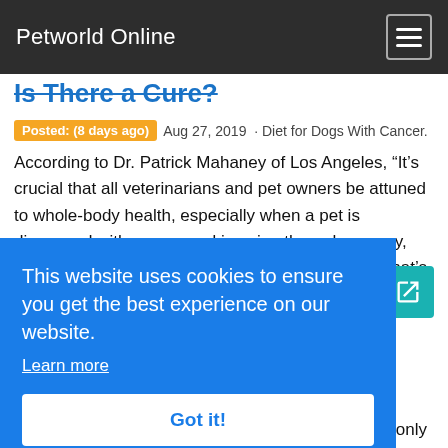Petworld Online
Is There a Cure?
Posted: (8 days ago)  Aug 27, 2019  · Diet for Dogs With Cancer. According to Dr. Patrick Mahaney of Los Angeles, “It’s crucial that all veterinarians and pet owners be attuned to whole-body health, especially when a pet is diagnosed with cancer and is going through surgery, radiation or chemotherapy,” says Dr. Mahaney. “What’s not totally addressed in the veterinary oncology community is nutrition.”
View Details  Petmd.com
This website uses cookies to ensure you get the best experience on our website.
Learn more
Got it!
protein, low-fat pet food and treat ingredient using only